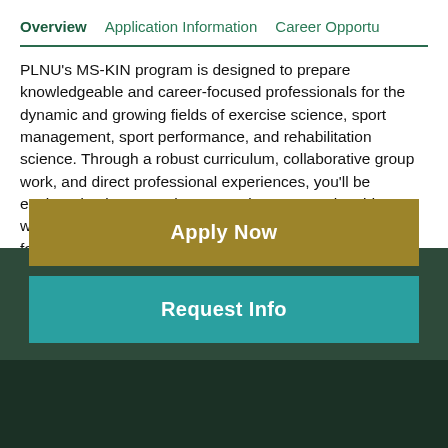Overview   Application Information   Career Opportu
PLNU's MS-KIN program is designed to prepare knowledgeable and career-focused professionals for the dynamic and growing fields of exercise science, sport management, sport performance, and rehabilitation science. Through a robust curriculum, collaborative group work, and direct professional experiences, you'll be equipped to integrate the current best research evidence with your professional practice to solve relevant problems for clients, patients, or businesses related to the healthcare, sport, and fitness industries.
[Figure (other): Apply Now button — gold/olive colored rectangular button with white bold text]
[Figure (other): Request Info button — teal colored rectangular button with white bold text]